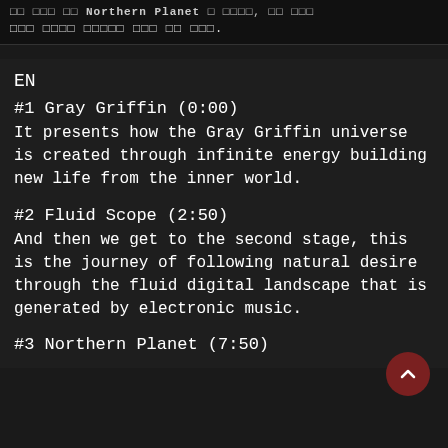[Korean text line 1] Northern Planet's [Korean text], [Korean text]
[Korean text] [Korean text] [Korean text] [Korean text] [Korean text].
EN
#1 Gray Griffin (0:00)
It presents how the Gray Griffin universe is created through infinite energy building new life from the inner world.
#2 Fluid Scope (2:50)
And then we get to the second stage, this is the journey of following natural desire through the fluid digital landscape that is generated by electronic music.
#3 Northern Planet (7:50)